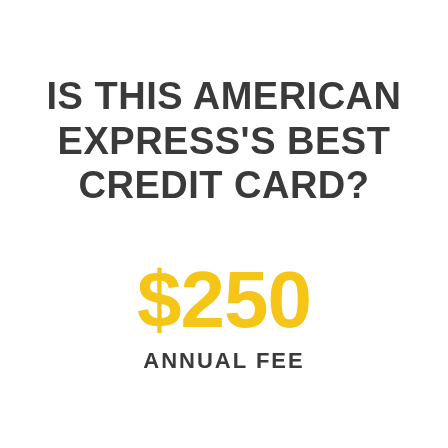IS THIS AMERICAN EXPRESS'S BEST CREDIT CARD?
$250
ANNUAL FEE